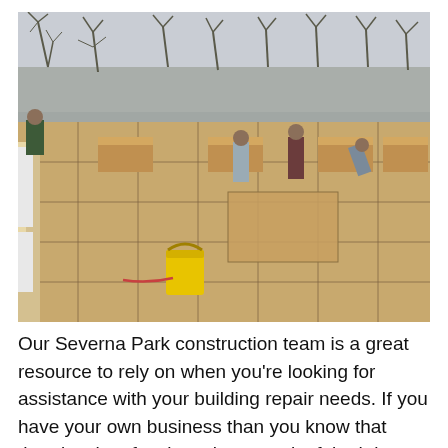[Figure (photo): Construction workers on a flat roof covered with OSB plywood panels in a grid pattern. Several workers are visible standing and working. A yellow bucket is visible in the foreground. Bare trees and a grey overcast sky are in the background.]
Our Severna Park construction team is a great resource to rely on when you're looking for assistance with your building repair needs. If you have your own business than you know that there's a lot of tasks to keep track of, both in regards to